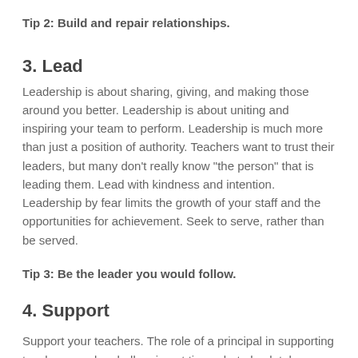Tip 2: Build and repair relationships.
3. Lead
Leadership is about sharing, giving, and making those around you better. Leadership is about uniting and inspiring your team to perform. Leadership is much more than just a position of authority. Teachers want to trust their leaders, but many don't really know "the person" that is leading them. Lead with kindness and intention. Leadership by fear limits the growth of your staff and the opportunities for achievement. Seek to serve, rather than be served.
Tip 3: Be the leader you would follow.
4. Support
Support your teachers. The role of a principal in supporting teachers can be challenging at times, but absolutely